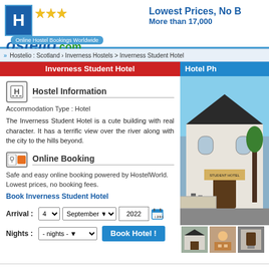[Figure (logo): Hostelio.com logo with blue H icon, stars, and tagline 'Online Hostel Bookings Worldwide']
Lowest Prices, No B... More than 17,000...
>> Hostelio : Scotland › Inverness Hostels > Inverness Student Hotel
Inverness Student Hotel
Hotel Ph...
Hostel Information
Accommodation Type : Hotel
The Inverness Student Hotel is a cute building with real character. It has a terrific view over the river along with the city to the hills beyond.
Online Booking
Safe and easy online booking powered by HostelWorld. Lowest prices, no booking fees.
Book Inverness Student Hotel
Arrival : 4 September 2022
Nights : - nights -   Book Hotel !
[Figure (photo): Photo of the Inverness Student Hotel building exterior, white building with black roof]
[Figure (photo): Three thumbnail photos of the hotel]